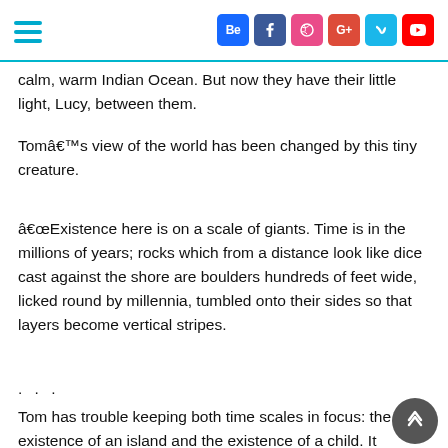Navigation menu and social icons: Behance, Facebook, Dribbble, Google+, Vimeo, YouTube
calm, warm Indian Ocean. But now they have their little light, Lucy, between them.
Tomâ€™s view of the world has been changed by this tiny creature.
â€œExistence here is on a scale of giants. Time is in the millions of years; rocks which from a distance look like dice cast against the shore are boulders hundreds of feet wide, licked round by millennia, tumbled onto their sides so that layers become vertical stripes.
. . .
Tom has trouble keeping both time scales in focus: the existence of an island and the existence of a child. It astounds him that the tiny life of the girl means more to him than all the millennia before it.â€
They have more shore leaves, and eventually, Tom is placed in a position where heâ€™s damned if he does and damned if he